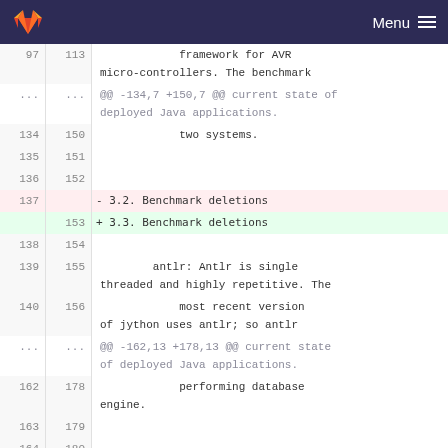GitLab — Menu
[Figure (screenshot): Git diff view showing code changes in a document. Lines 97/113 show 'framework for AVR micro-controllers. The benchmark'. A hunk header shows '@@ -134,7 +150,7 @@ current state of deployed Java applications.'. Lines 134/150 show 'two systems.'. Lines 135/151, 136/152 are blank. Line 137 (deleted, red): '- 3.2. Benchmark deletions'. Line 153 (added, green): '+ 3.3. Benchmark deletions'. Lines 138/154, 139/155 show 'antlr: Antlr is single threaded and highly repetitive. The'. Lines 140/156 show 'most recent version of jython uses antlr; so antlr'. A hunk header: '@@ -162,13 +178,13 @@ current state of deployed Java applications.'. Lines 162/178 show 'performing database engine.'. Lines 163/179, 164/180 are blank.]